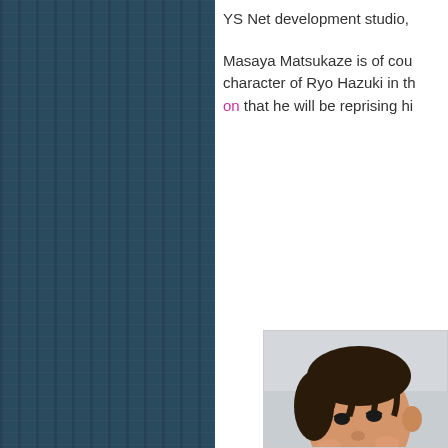[Figure (other): Dark blue textured fabric/denim background panel on the left half of the page]
YS Net development studio,
Masaya Matsukaze is of cou character of Ryo Hazuki in th on that he will be reprising hi
[Figure (photo): Close-up selfie photo of a smiling Japanese man with dark hair, wearing a black shirt, tilting his head, with a light grey background]